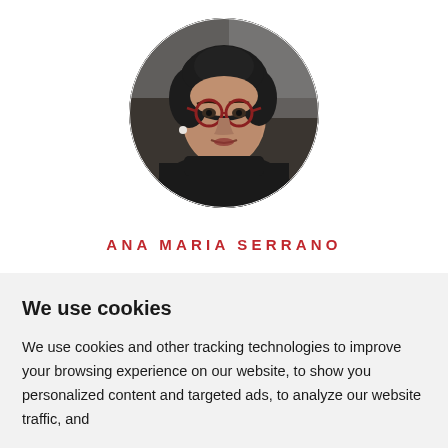[Figure (photo): Circular cropped portrait photo of Ana Maria Serrano, a woman with curly dark hair wearing round red-framed glasses and a dark turtleneck, with a pearl earring.]
ANA MARIA SERRANO
We use cookies
We use cookies and other tracking technologies to improve your browsing experience on our website, to show you personalized content and targeted ads, to analyze our website traffic, and